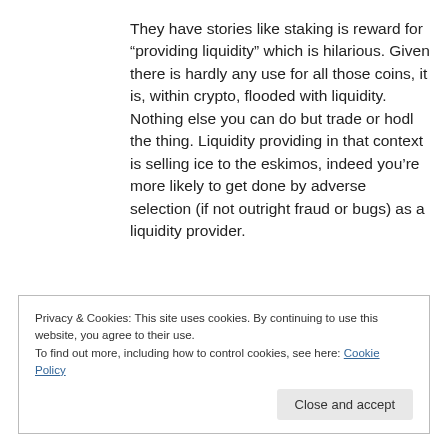They have stories like staking is reward for “providing liquidity” which is hilarious. Given there is hardly any use for all those coins, it is, within crypto, flooded with liquidity. Nothing else you can do but trade or hodl the thing. Liquidity providing in that context is selling ice to the eskimos, indeed you’re more likely to get done by adverse selection (if not outright fraud or bugs) as a liquidity provider.
Privacy & Cookies: This site uses cookies. By continuing to use this website, you agree to their use.
To find out more, including how to control cookies, see here: Cookie Policy